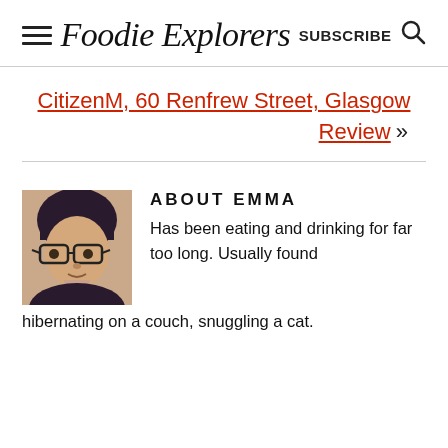Foodie Explorers  SUBSCRIBE
CitizenM, 60 Renfrew Street, Glasgow Review »
[Figure (photo): Portrait photo of Emma wearing glasses with dark hair and bangs]
ABOUT EMMA
Has been eating and drinking for far too long. Usually found hibernating on a couch, snuggling a cat.